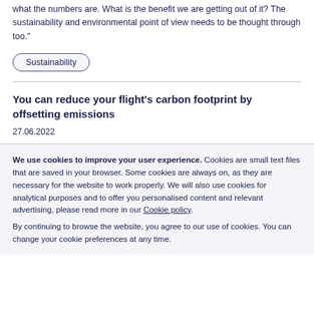what the numbers are. What is the benefit we are getting out of it? The sustainability and environmental point of view needs to be thought through too."
Sustainability
You can reduce your flight's carbon footprint by offsetting emissions
27.06.2022
We use cookies to improve your user experience. Cookies are small text files that are saved in your browser. Some cookies are always on, as they are necessary for the website to work properly. We will also use cookies for analytical purposes and to offer you personalised content and relevant advertising, please read more in our Cookie policy. By continuing to browse the website, you agree to our use of cookies. You can change your cookie preferences at any time.